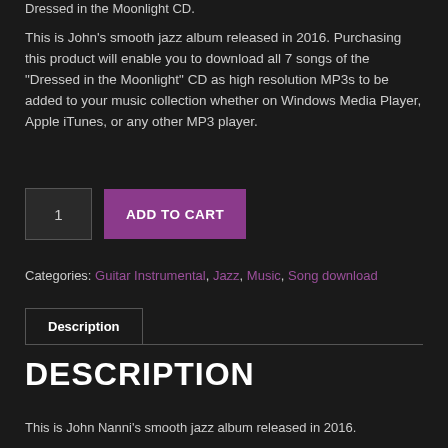Dressed in the Moonlight CD.
This is John's smooth jazz album released in 2016. Purchasing this product will enable you to download all 7 songs of the "Dressed in the Moonlight" CD as high resolution MP3s to be added to your music collection whether on Windows Media Player, Apple iTunes, or any other MP3 player.
Categories: Guitar Instrumental, Jazz, Music, Song download
Description
DESCRIPTION
This is John Nanni's smooth jazz album released in 2016.